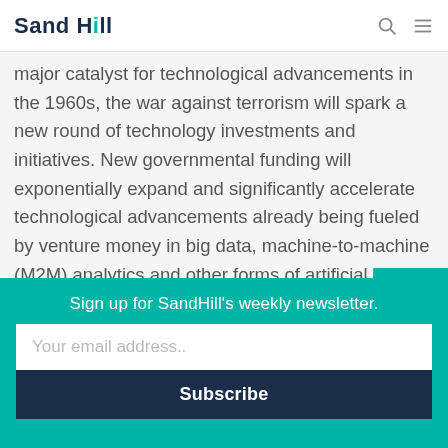Sand Hill
major catalyst for technological advancements in the 1960s, the war against terrorism will spark a new round of technology investments and initiatives. New governmental funding will exponentially expand and significantly accelerate technological advancements already being fueled by venture money in big data, machine-to-machine (M2M) analytics and other forms of artificial intelligence (AI).

Social media changes will also be made to offset
Sign up for SandHill's weekly newsletter.
Your email address..
Subscribe